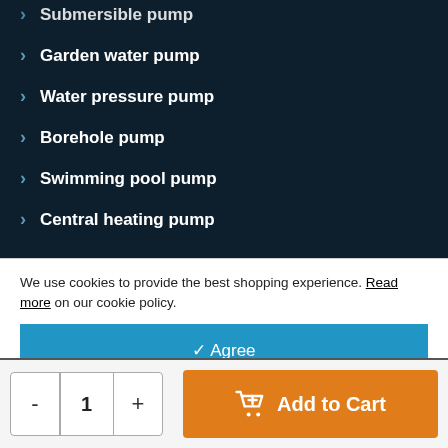Submersible pump
Garden water pump
Water pressure pump
Borehole pump
Swimming pool pump
Central heating pump
We use cookies to provide the best shopping experience. Read more on our cookie policy.
✓ Agree
Deny
- 1 + Add to Cart